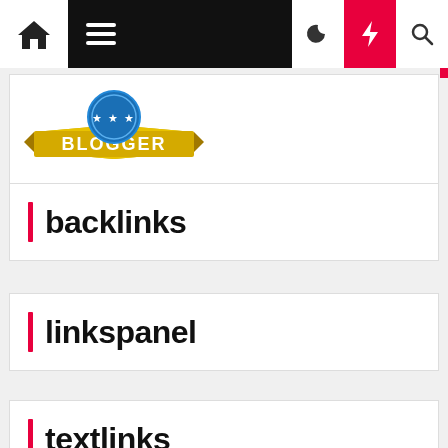Navigation bar with home, menu, moon, bolt, search icons
[Figure (logo): Blogger badge logo with gold/yellow ribbon banner saying BLOGGER and blue circular emblem with stars]
backlinks
linkspanel
textlinks
promo toyota malang